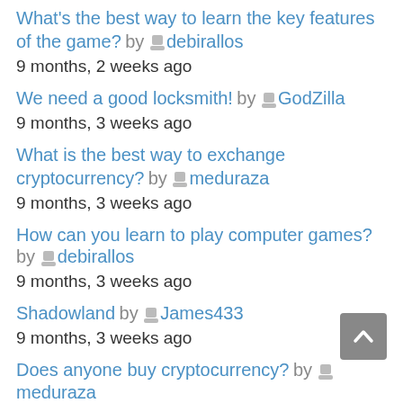What's the best way to learn the key features of the game? by debirallos
9 months, 2 weeks ago
We need a good locksmith! by GodZilla
9 months, 3 weeks ago
What is the best way to exchange cryptocurrency? by meduraza
9 months, 3 weeks ago
How can you learn to play computer games? by debirallos
9 months, 3 weeks ago
Shadowland by James433
9 months, 3 weeks ago
Does anyone buy cryptocurrency? by meduraza
9 months, 3 weeks ago
recurring invoices & accepting online